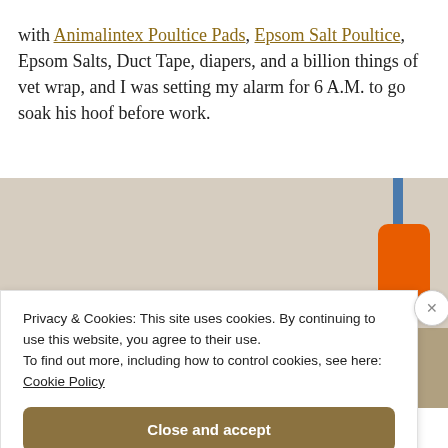with Animalintex Poultice Pads, Epsom Salt Poultice, Epsom Salts, Duct Tape, diapers, and a billion things of vet wrap, and I was setting my alarm for 6 A.M. to go soak his hoof before work.
[Figure (photo): Photo of what appears to be a veterinary or stable setting. A dark sign reading 'Ultrasound' is visible on the left. An orange cylindrical object is on the right side. A dark animal shape is visible in the lower center. Blue vertical bar in upper right.]
Privacy & Cookies: This site uses cookies. By continuing to use this website, you agree to their use.
To find out more, including how to control cookies, see here: Cookie Policy
Close and accept